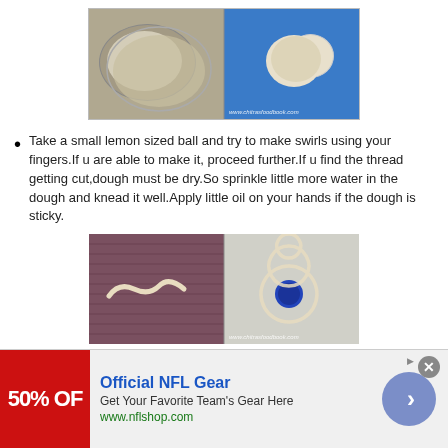[Figure (photo): Two-panel food photo: left panel shows a bowl with dry flour/dough mixture on a blue background; right panel shows a small ball of dough on a blue surface. Watermark: www.chitrasfoodbook.com]
Take a small lemon sized ball and try to make swirls using your fingers.If u are able to make it, proceed further.If u find the thread getting cut,dough must be dry.So sprinkle little more water in the dough and knead it well.Apply little oil on your hands if the dough is sticky.
[Figure (photo): Two-panel food photo: left panel shows a worm-shaped piece of dough on a purple/red woven cloth; right panel shows a spiral/coiled murukku shape on a plastic surface with a blue bottle lid. Watermark: www.chitrasfoodbook.com]
Spread a cotton cloth or butter paper and place a small bottle lid.Keep a small bowl of water & a bowl of oil
Official NFL Gear
Get Your Favorite Team's Gear Here
www.nflshop.com